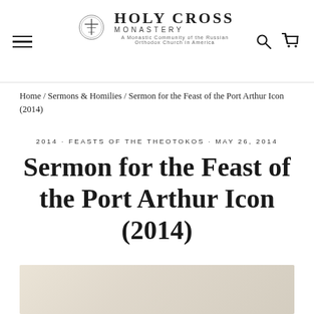Holy Cross Monastery — navigation header with logo, hamburger menu, search and cart icons
Home / Sermons & Homilies / Sermon for the Feast of the Port Arthur Icon (2014)
2014 · FEASTS OF THE THEOTOKOS · MAY 26, 2014
Sermon for the Feast of the Port Arthur Icon (2014)
[Figure (photo): Faded photograph or icon image at the bottom of the page]